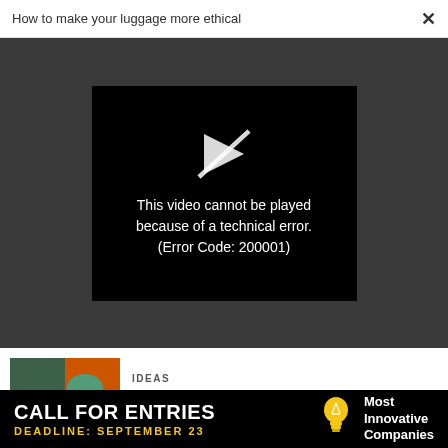How to make your luggage more ethical ×
[Figure (screenshot): Video player error screen on dark grey background. Black box in center shows a broken video icon and text: This video cannot be played because of a technical error. (Error Code: 200001)]
[Figure (illustration): Colorful illustration of an electric vehicle cross-section with mechanical components in orange, teal and blue tones]
IDEAS
This is why electric vehicles are stuck in neutral
[Figure (illustration): Colorful abstract illustration with green/blue/pink tones, partially visible]
CO-DESIGN
[Figure (infographic): Black advertisement banner: CALL FOR ENTRIES. DEADLINE: SEPTEMBER 23. Light bulb icon. Most Innovative Companies.]